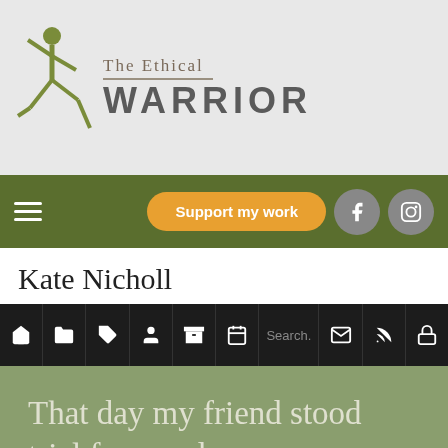[Figure (logo): The Ethical Warrior website logo with yoga figure silhouette in olive green and site name text]
The Ethical WARRIOR
[Figure (screenshot): Navigation bar with hamburger menu, Support my work button, Facebook and Instagram icons]
Kate Nicholl
[Figure (screenshot): Icon toolbar with home, folder, tag, user, archive, calendar, search, mail, RSS, and lock icons]
That day my friend stood trial for murder...
Wednesday, 17 August 2016